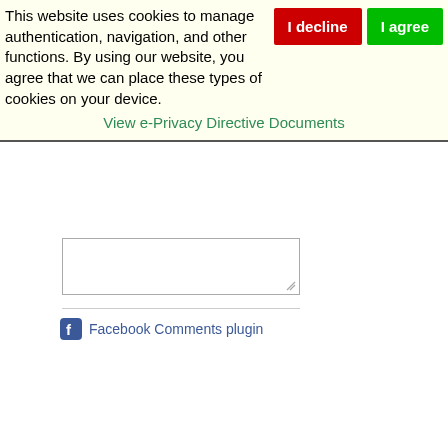This website uses cookies to manage authentication, navigation, and other functions. By using our website, you agree that we can place these types of cookies on your device.
View e-Privacy Directive Documents
[Figure (screenshot): A cookie consent banner with 'I decline' (red button) and 'I agree' (green button) options, a textarea input field, a horizontal rule, and a Facebook Comments plugin link.]
Facebook Comments plugin